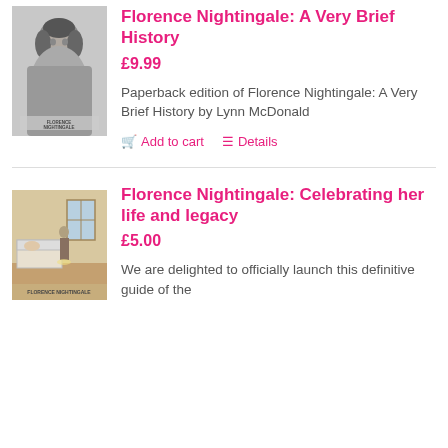[Figure (photo): Book cover of Florence Nightingale: A Very Brief History showing a black and white portrait photo of Florence Nightingale]
Florence Nightingale: A Very Brief History
£9.99
Paperback edition of Florence Nightingale: A Very Brief History by Lynn McDonald
Add to cart   Details
[Figure (photo): Book cover of Florence Nightingale: Celebrating her life and legacy showing a historical scene illustration]
Florence Nightingale: Celebrating her life and legacy
£5.00
We are delighted to officially launch this definitive guide of the